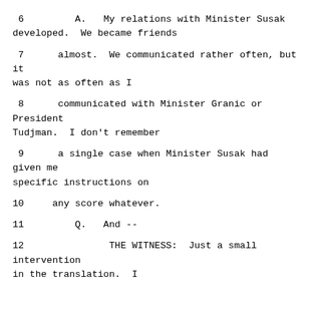6         A.   My relations with Minister Susak developed.  We became friends
7      almost.  We communicated rather often, but it was not as often as I
8      communicated with Minister Granic or President Tudjman.  I don't remember
9      a single case when Minister Susak had given me specific instructions on
10     any score whatever.
11         Q.   And --
12               THE WITNESS:  Just a small intervention in the translation.  I